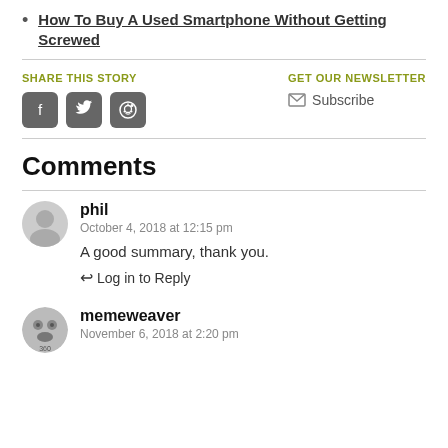How To Buy A Used Smartphone Without Getting Screwed
SHARE THIS STORY
[Figure (infographic): Social sharing icons: Facebook, Twitter, Reddit (dark rounded square buttons)]
GET OUR NEWSLETTER
Subscribe
Comments
phil
October 4, 2018 at 12:15 pm
A good summary, thank you.
Log in to Reply
memeweaver
November 6, 2018 at 2:20 pm